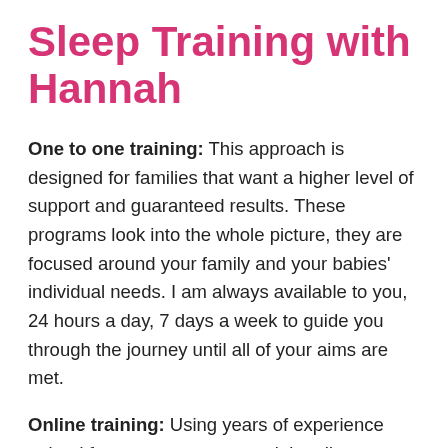Sleep Training with Hannah
One to one training: This approach is designed for families that want a higher level of support and guaranteed results. These programs look into the whole picture, they are focused around your family and your babies' individual needs. I am always available to you, 24 hours a day, 7 days a week to guide you through the journey until all of your aims are met.
Online training: Using years of experience gained from my one to one training, I've now devised an online sleep training course where you